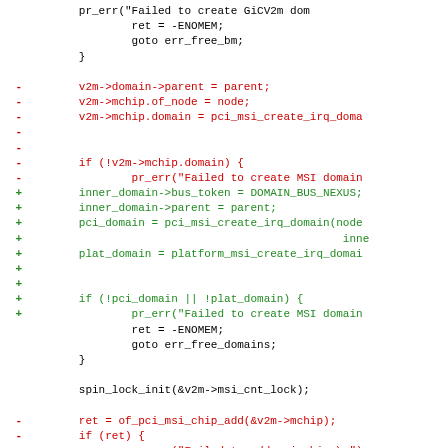Code diff showing changes to GICv2m MSI domain initialization in a kernel/driver source file. Removed lines (red) show old v2m->mchip based approach; added lines (green) show new inner_domain/pci_domain/plat_domain approach.